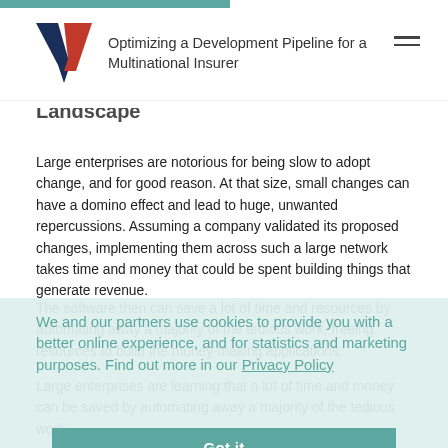Optimizing a Development Pipeline for a Multinational Insurer
Landscape
Large enterprises are notorious for being slow to adopt change, and for good reason. At that size, small changes can have a domino effect and lead to huge, unwanted repercussions. Assuming a company validated its proposed changes, implementing them across such a large network takes time and money that could be spent building things that generate revenue.
The software then can save a lot of time and resources by automating away a majority of the tedious work, freeing resources to build the money-making applications.
We and our partners use cookies to provide you with a better online experience, and for statistics and marketing purposes. Find out more in our Privacy Policy
Large enterprises are learning that a lot of time and money can be saved by automating away a majority of the tedious work.